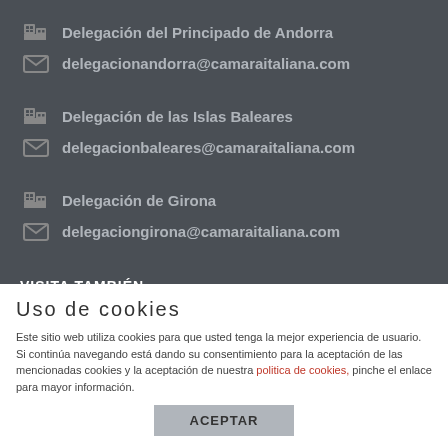Delegación del Principado de Andorra
delegacionandorra@camaraitaliana.com
Delegación de las Islas Baleares
delegacionbaleares@camaraitaliana.com
Delegación de Girona
delegaciongirona@camaraitaliana.com
VISITA TAMBIÉN
Consulado General de Italia en Barcelona
Uso de cookies
Este sitio web utiliza cookies para que usted tenga la mejor experiencia de usuario. Si continúa navegando está dando su consentimiento para la aceptación de las mencionadas cookies y la aceptación de nuestra política de cookies, pinche el enlace para mayor información.
ACEPTAR